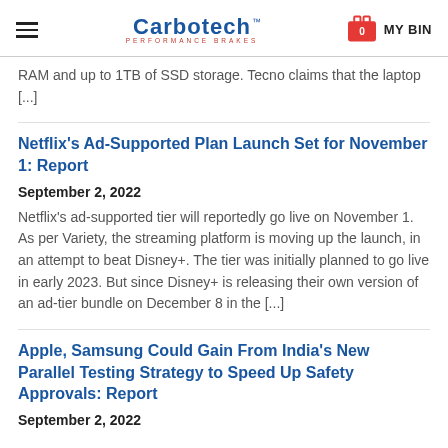Carbotech Performance Brakes — MY BIN
RAM and up to 1TB of SSD storage. Tecno claims that the laptop [...]
Netflix’s Ad-Supported Plan Launch Set for November 1: Report
September 2, 2022
Netflix’s ad-supported tier will reportedly go live on November 1. As per Variety, the streaming platform is moving up the launch, in an attempt to beat Disney+. The tier was initially planned to go live in early 2023. But since Disney+ is releasing their own version of an ad-tier bundle on December 8 in the [...]
Apple, Samsung Could Gain From India’s New Parallel Testing Strategy to Speed Up Safety Approvals: Report
September 2, 2022